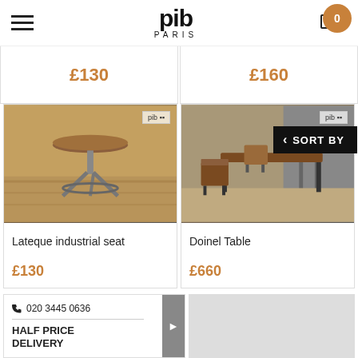pib PARIS — navigation header with logo and cart (0 items)
£130
£160
SORT BY
[Figure (photo): Lateque industrial seat — adjustable industrial stool with round wooden top and metal base, photographed in a rustic warehouse setting]
Lateque industrial seat
£130
[Figure (photo): Doinel Table — dark metal dining table with wooden top, shown with school-style chairs in an industrial/rustic setting]
Doinel Table
£660
020 3445 0636
HALF PRICE DELIVERY